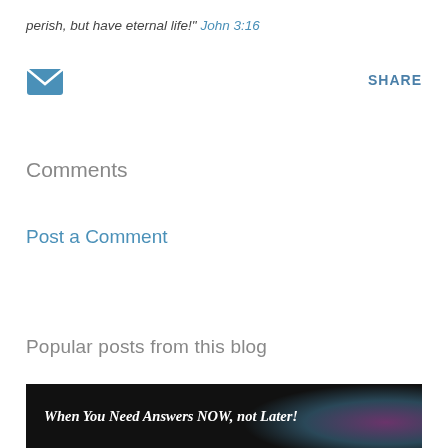perish, but have eternal life!" John 3:16
[Figure (other): Email envelope icon (blue)]
SHARE
Comments
Post a Comment
Popular posts from this blog
[Figure (photo): Dark banner image with colorful light glow effect and white bold italic text: When You Need Answers NOW, not Later!]